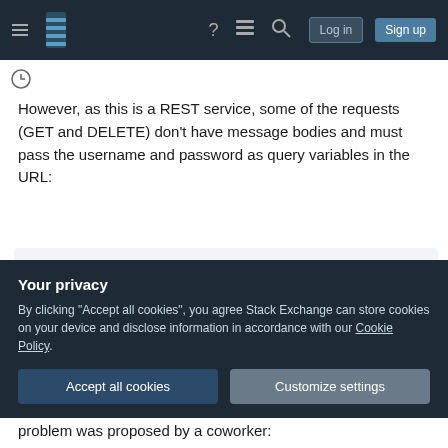Stack Exchange navigation bar with Log in and Sign up buttons
However, as this is a REST service, some of the requests (GET and DELETE) don't have message bodies and must pass the username and password as query variables in the URL:
GET http://application.url/endpoint?usernam
This is, frankly, a bad idea. Requests are logged on the server, so if I send the password in plaintext, it's now sitting in a log file somewhere on the server. I
Your privacy
By clicking "Accept all cookies", you agree Stack Exchange can store cookies on your device and disclose information in accordance with our Cookie Policy.
Accept all cookies  Customize settings
problem was proposed by a coworker: